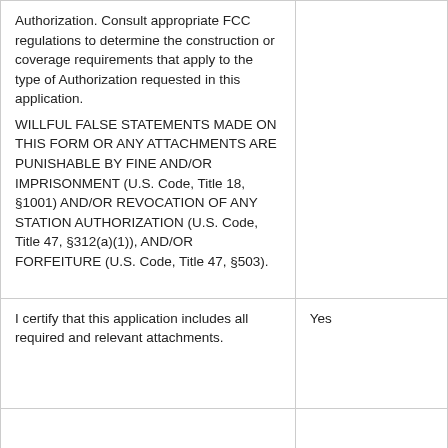|  |  |
| --- | --- |
| Authorization. Consult appropriate FCC regulations to determine the construction or coverage requirements that apply to the type of Authorization requested in this application.
WILLFUL FALSE STATEMENTS MADE ON THIS FORM OR ANY ATTACHMENTS ARE PUNISHABLE BY FINE AND/OR IMPRISONMENT (U.S. Code, Title 18, §1001) AND/OR REVOCATION OF ANY STATION AUTHORIZATION (U.S. Code, Title 47, §312(a)(1)), AND/OR FORFEITURE (U.S. Code, Title 47, §503). |  |
| I certify that this application includes all required and relevant attachments. | Yes |
|  |  |